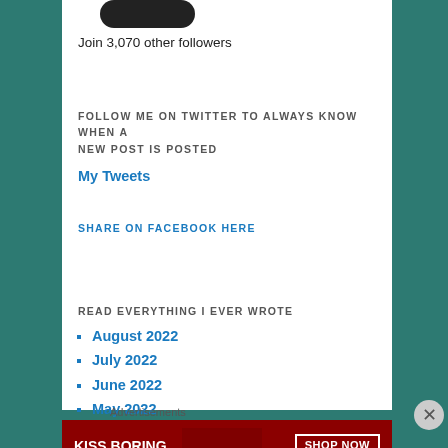[Figure (photo): Black rounded shape (profile button/image) at top of white sidebar panel]
Join 3,070 other followers
FOLLOW ME ON TWITTER TO ALWAYS KNOW WHEN A NEW POST IS POSTED
My Tweets
SHARE ON FACEBOOK HERE
READ EVERYTHING I EVER WROTE
August 2022
July 2022
June 2022
May 2022
April 2022
Advertisements
[Figure (photo): Macy's advertisement banner: KISS BORING LIPS GOODBYE with SHOP NOW button and Macy's star logo]